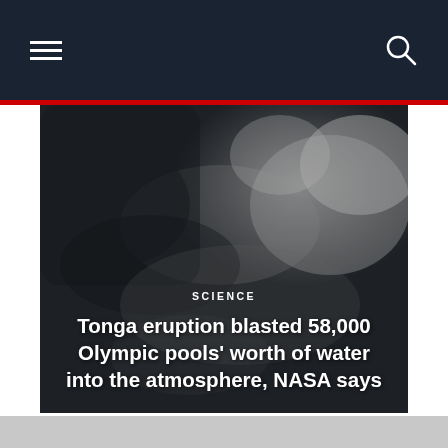[Figure (photo): Satellite image showing the Tonga volcanic eruption cloud from above, in grayscale, with visible ash and cloud formations.]
SCIENCE
Tonga eruption blasted 58,000 Olympic pools' worth of water into the atmosphere, NASA says